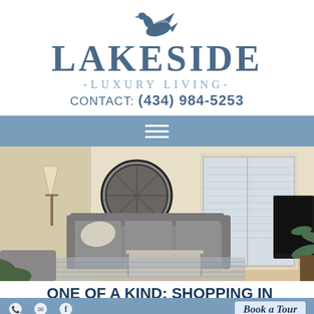[Figure (logo): Lakeside Luxury Living logo with goose silhouette above the text LAKESIDE, -LUXURY LIVING-, and CONTACT: (434) 984-5253]
[Figure (other): Blue navigation bar with hamburger menu icon (three white horizontal lines)]
[Figure (photo): Interior photo of a bright living room with gray sofa, round mirror, white french doors, striped rug, and plants]
ONE OF A KIND: SHOPPING IN CHARLOTTESVILLE
[Figure (other): Blue footer bar with social media icons on left and 'Book a Tour' text on right]